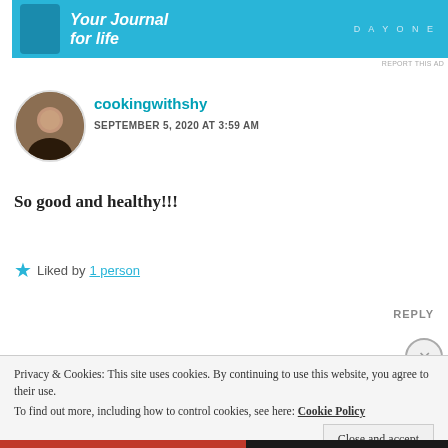[Figure (screenshot): Ad banner for Day One journaling app with blue background, phone image, italic text 'Your Journal for life' and DAY ONE logo]
REPORT THIS AD
cookingwithshy
SEPTEMBER 5, 2020 AT 3:59 AM
So good and healthy!!!
★ Liked by 1 person
REPLY
Privacy & Cookies: This site uses cookies. By continuing to use this website, you agree to their use.
To find out more, including how to control cookies, see here: Cookie Policy
Close and accept